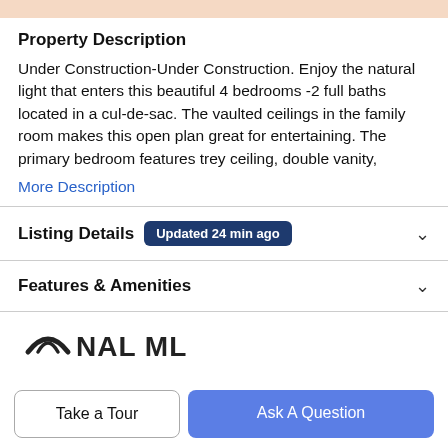Property Description
Under Construction-Under Construction. Enjoy the natural light that enters this beautiful 4 bedrooms -2 full baths located in a cul-de-sac. The vaulted ceilings in the family room makes this open plan great for entertaining. The primary bedroom features trey ceiling, double vanity,
More Description
Listing Details Updated 24 min ago
Features & Amenities
[Figure (logo): NAL MLS logo]
Take a Tour
Ask A Question